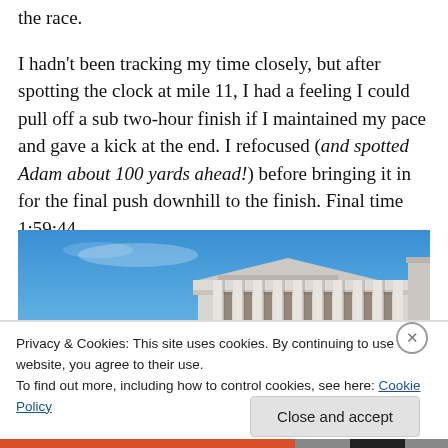the race.
I hadn't been tracking my time closely, but after spotting the clock at mile 11, I had a feeling I could pull off a sub two-hour finish if I maintained my pace and gave a kick at the end. I refocused (and spotted Adam about 100 yards ahead!) before bringing it in for the final push downhill to the finish. Final time 1:59:44.
[Figure (photo): Photo of a classical stone building facade with columns under a blue sky, cropped showing the upper portion of the building]
Privacy & Cookies: This site uses cookies. By continuing to use this website, you agree to their use.
To find out more, including how to control cookies, see here: Cookie Policy